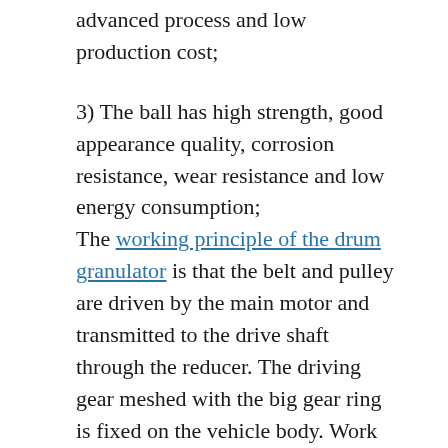advanced process and low production cost;
3) The ball has high strength, good appearance quality, corrosion resistance, wear resistance and low energy consumption;
The working principle of the drum granulator is that the belt and pulley are driven by the main motor and transmitted to the drive shaft through the reducer. The driving gear meshed with the big gear ring is fixed on the vehicle body. Work with each other.
Material is added from the feed end through the cylinder. Through the function of the special structure inside the cylinder, it is made into particles, and then flows out through the